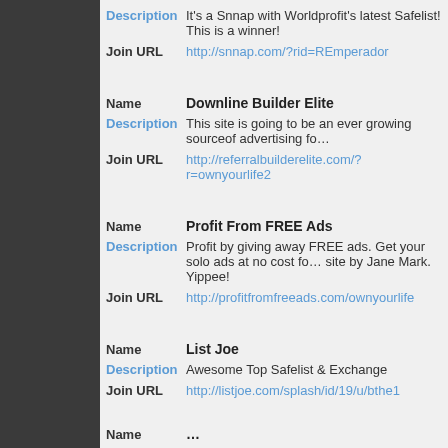Description  It's a Snnap with Worldprofit's latest Safelist! This is a winner!
Join URL  http://snnap.com/?rid=REmperador
Name  Downline Builder Elite
Description  This site is going to be an ever growing sourceof advertising fo...
Join URL  http://referralbuilderelite.com/?r=ownyourlife2
Name  Profit From FREE Ads
Description  Profit by giving away FREE ads. Get your solo ads at no cost fo...site by Jane Mark. Yippee!
Join URL  http://profitfromfreeads.com/ownyourlife
Name  List Joe
Description  Awesome Top Safelist & Exchange
Join URL  http://listjoe.com/splash/id/19/u/bthe1
Name  ...